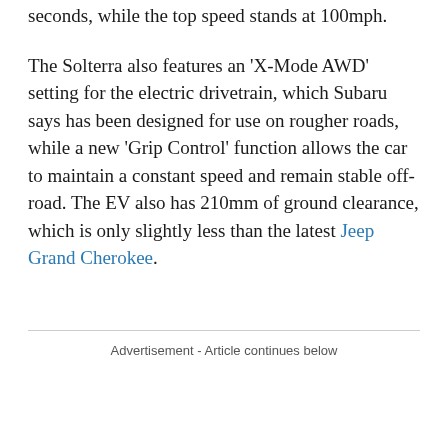seconds, while the top speed stands at 100mph.
The Solterra also features an 'X-Mode AWD' setting for the electric drivetrain, which Subaru says has been designed for use on rougher roads, while a new 'Grip Control' function allows the car to maintain a constant speed and remain stable off-road. The EV also has 210mm of ground clearance, which is only slightly less than the latest Jeep Grand Cherokee.
Advertisement - Article continues below